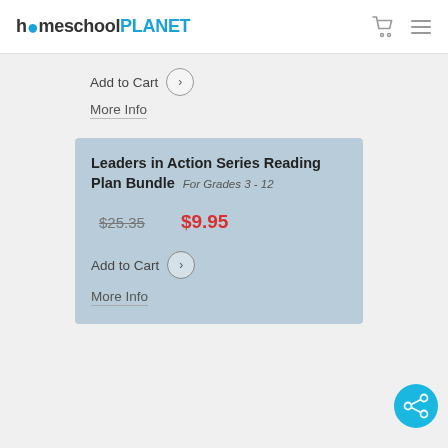homeschoolPLANET
Add to Cart
More Info
Leaders in Action Series Reading Plan Bundle  For Grades 3 - 12
$25.35  $9.95
Add to Cart
More Info